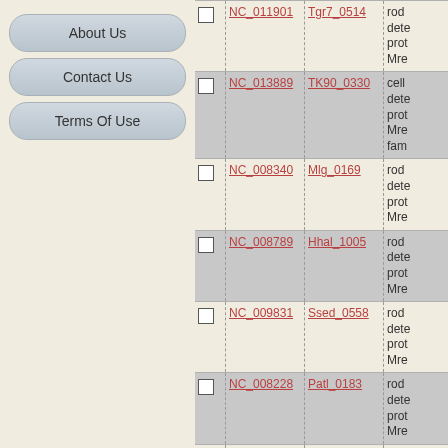About Us
Contact Us
Terms Of Use
|  | NC | Gene | Description |
| --- | --- | --- | --- |
| ☐ | NC_011901 | Tgr7_0514 | rod dete prot Mre |
| ☐ | NC_013889 | TK90_0330 | cell dete prot Mre fam |
| ☐ | NC_008340 | Mlg_0169 | rod dete prot Mre |
| ☐ | NC_008789 | Hhal_1005 | rod dete prot Mre |
| ☐ | NC_009831 | Ssed_0558 | rod dete prot Mre |
| ☐ | NC_008228 | Patl_0183 | rod dete prot Mre |
| ☐ | NC_010506 | Swoo_4402 | rod dete prot Mre |